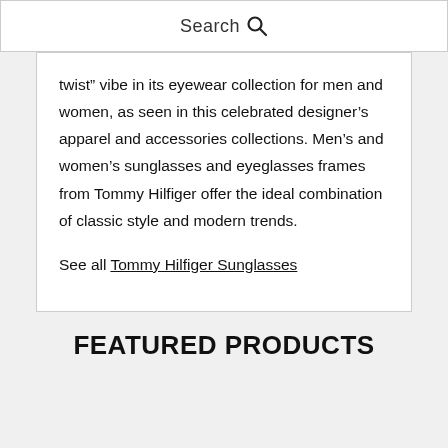Search
twist” vibe in its eyewear collection for men and women, as seen in this celebrated designer’s apparel and accessories collections. Men’s and women’s sunglasses and eyeglasses frames from Tommy Hilfiger offer the ideal combination of classic style and modern trends.

See all Tommy Hilfiger Sunglasses
FEATURED PRODUCTS